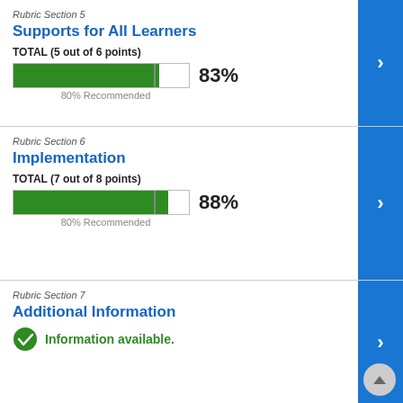Rubric Section 5
Supports for All Learners
TOTAL (5 out of 6 points)
[Figure (bar-chart): Section 5 Progress]
80% Recommended
Rubric Section 6
Implementation
TOTAL (7 out of 8 points)
[Figure (bar-chart): Section 6 Progress]
80% Recommended
Rubric Section 7
Additional Information
Information available.